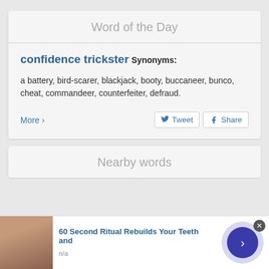Word of the Day
confidence trickster
Synonyms:
a battery, bird-scarer, blackjack, booty, buccaneer, bunco, cheat, commandeer, counterfeiter, defraud.
More ›
Nearby words
60 Second Ritual Rebuilds Your Teeth and
n/a